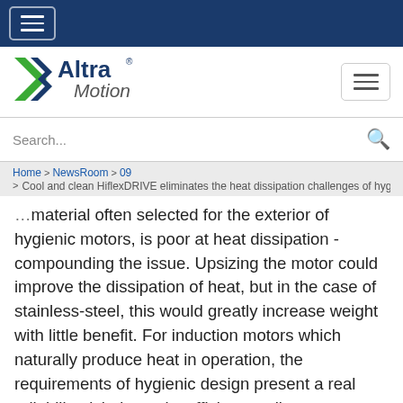Altra Motion — top navigation bar with hamburger menu
[Figure (logo): Altra Motion logo with green arrow/A graphic and blue text]
Search...
Home > NewsRoom > 09 > Cool and clean HiflexDRIVE eliminates the heat dissipation challenges of hyg
material often selected for the exterior of hygienic motors, is poor at heat dissipation - compounding the issue. Upsizing the motor could improve the dissipation of heat, but in the case of stainless-steel, this would greatly increase weight with little benefit. For induction motors which naturally produce heat in operation, the requirements of hygienic design present a real reliability risk due to insufficient cooling.